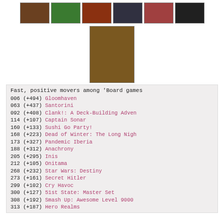[Figure (photo): Row of 6 board game/movie cover thumbnails at the top]
[Figure (photo): Single larger board game/movie cover image in the center]
Fast, positive movers among 'Board games
006 (+494) Gloomhaven
063 (+437) Santorini
092 (+408) Clank!: A Deck-Building Adven
114 (+107) Captain Sonar
160 (+133) Sushi Go Party!
168 (+223) Dead of Winter: The Long Nigh
173 (+327) Pandemic Iberia
188 (+312) Anachrony
205 (+295) Inis
212 (+105) Onitama
268 (+232) Star Wars: Destiny
273 (+161) Secret Hitler
299 (+102) Cry Havoc
300 (+127) 51st State: Master Set
308 (+192) Smash Up: Awesome Level 9000
313 (+187) Hero Realms